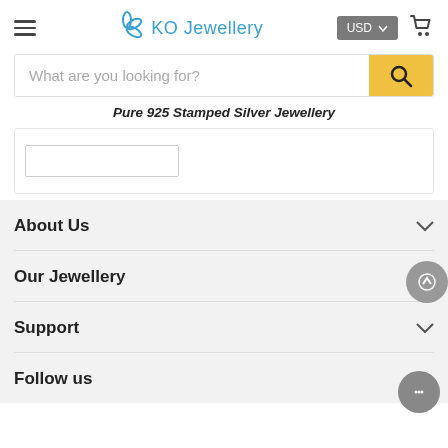KO Jewellery
What are you looking for?
Pure 925 Stamped Silver Jewellery
About Us
Our Jewellery
Support
Follow us